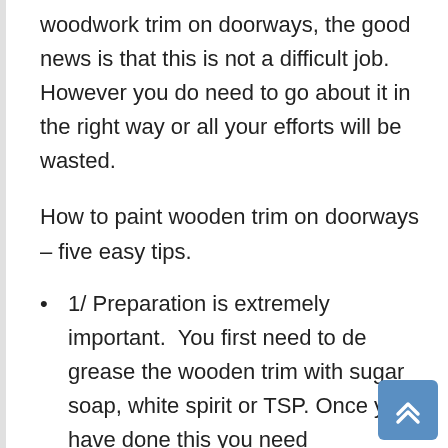woodwork trim on doorways, the good news is that this is not a difficult job. However you do need to go about it in the right way or all your efforts will be wasted.
How to paint wooden trim on doorways – five easy tips.
1/ Preparation is extremely important.  You first need to de grease the wooden trim with sugar soap, white spirit or TSP. Once you have done this you need